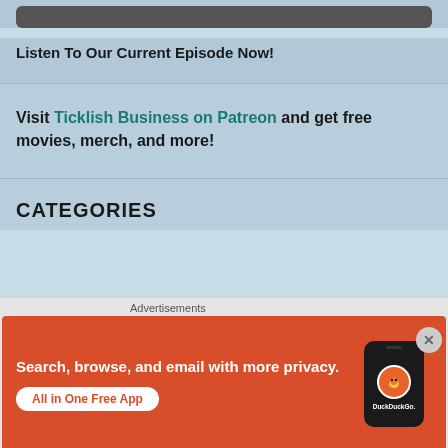[Figure (other): Dark rounded bar/player UI element at top]
Listen To Our Current Episode Now!
Visit Ticklish Business on Patreon and get free movies, merch, and more!
CATEGORIES
[Figure (screenshot): DuckDuckGo advertisement banner with orange background showing 'Search, browse, and email with more privacy. All in One Free App' with phone mockup and DuckDuckGo logo]